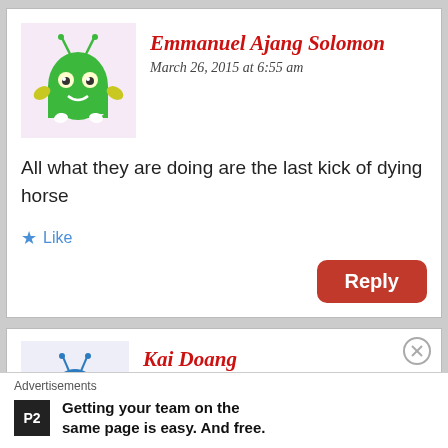[Figure (illustration): Green cartoon ghost avatar with antennae and yellow hands]
Emmanuel Ajang Solomon
March 26, 2015 at 6:55 am
All what they are doing are the last kick of dying horse
Like
Reply
[Figure (illustration): Blue cartoon ant/bug avatar with yellow hands]
Kai Doang
March 26, 2015 at 8:29 am
Mr.Kuku, there is no home should be clean
Advertisements
Getting your team on the same page is easy. And free.